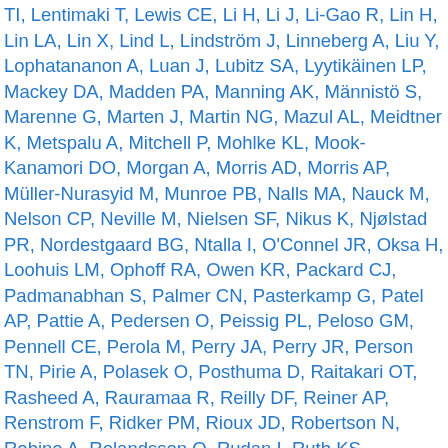TI, Lentimaki T, Lewis CE, Li H, Li J, Li-Gao R, Lin H, Lin LA, Lin X, Lind L, Lindström J, Linneberg A, Liu Y, Lophatananon A, Luan J, Lubitz SA, Lyytikäinen LP, Mackey DA, Madden PA, Manning AK, Männistö S, Marenne G, Marten J, Martin NG, Mazul AL, Meidtner K, Metspalu A, Mitchell P, Mohlke KL, Mook-Kanamori DO, Morgan A, Morris AD, Morris AP, Müller-Nurasyid M, Munroe PB, Nalls MA, Nauck M, Nelson CP, Neville M, Nielsen SF, Nikus K, Njølstad PR, Nordestgaard BG, Ntalla I, O'Connel JR, Oksa H, Loohuis LM, Ophoff RA, Owen KR, Packard CJ, Padmanabhan S, Palmer CN, Pasterkamp G, Patel AP, Pattie A, Pedersen O, Peissig PL, Peloso GM, Pennell CE, Perola M, Perry JA, Perry JR, Person TN, Pirie A, Polasek O, Posthuma D, Raitakari OT, Rasheed A, Rauramaa R, Reilly DF, Reiner AP, Renstrom F, Ridker PM, Rioux JD, Robertson N, Robino A, Rolandsson O, Rudan I, Ruth KS, Saleheen D, Salomaa V, Samani NJ, Sandow K, Sapkota Y, Sattar N, Schmidt MK, Schreiner PJ, Schulze MB, Scott RA, Segura-Lepe MP, Shah S, Sim X, Sivapalaratnam S, Small KS, Smith AV, Smith JA, Southam L, Spector TD, Speliotes EK, Starr JM, Steinthorsdottir V, Stringham HM, Stumvoll M, Surendran